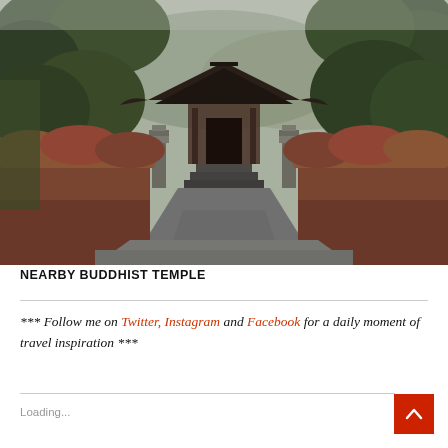[Figure (photo): Pathway leading to a traditional Chinese Buddhist temple pavilion with curved roof, flanked by trimmed reddish-brown hedges and tall green trees, misty mountains in background.]
NEARBY BUDDHIST TEMPLE
*** Follow me on Twitter, Instagram and Facebook for a daily moment of travel inspiration ***
Loading...